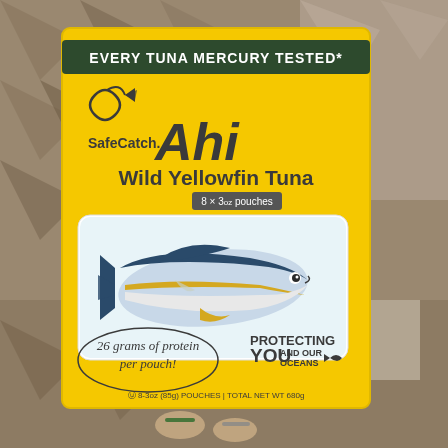[Figure (photo): Photo of a hand holding a Safe Catch Ahi Wild Yellowfin Tuna product box (yellow packaging) against a tiled floor background. The box displays: 'EVERY TUNA MERCURY TESTED*' on a dark green banner, Safe Catch logo with fish icon, large 'Ahi' text, 'Wild Yellowfin Tuna' subtitle, '8x3oz pouches' label, an illustrated yellowfin tuna fish in a window cutout, '26 grams of protein per pouch!' in cursive, 'PROTECTING YOU AND OUR OCEANS' text, and bottom text '8-3oz (85g) POUCHES | TOTAL NET WT 680g'.]